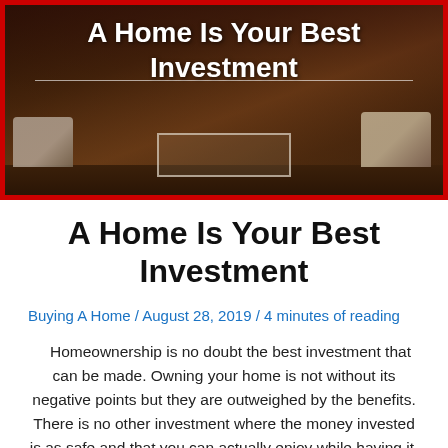[Figure (photo): Hero banner image of a living room interior with sofas and a glass coffee table, overlaid with the text 'A Home Is Your Best Investment', framed with a red border]
A Home Is Your Best Investment
Buying A Home / August 28, 2019 / 4 minutes of reading
Homeownership is no doubt the best investment that can be made. Owning your home is not without its negative points but they are outweighed by the benefits. There is no other investment where the money invested is as safe and that you can actually enjoy while having it. The process to home-owning is